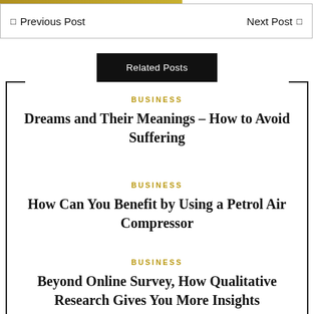Previous Post   Next Post
Related Posts
BUSINESS
Dreams and Their Meanings – How to Avoid Suffering
BUSINESS
How Can You Benefit by Using a Petrol Air Compressor
BUSINESS
Beyond Online Survey, How Qualitative Research Gives You More Insights